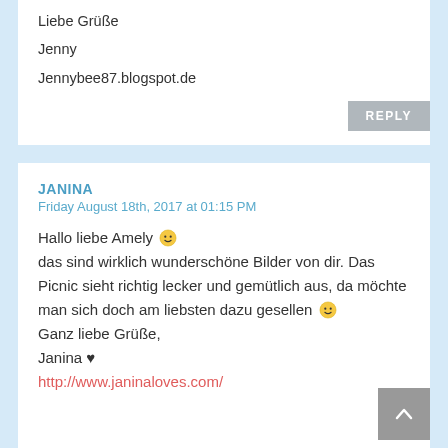Liebe Grüße

Jenny

Jennybee87.blogspot.de
REPLY
JANINA
Friday August 18th, 2017 at 01:15 PM
Hallo liebe Amely 🙂 das sind wirklich wunderschöne Bilder von dir. Das Picnic sieht richtig lecker und gemütlich aus, da möchte man sich doch am liebsten dazu gesellen 🙂 Ganz liebe Grüße,
Janina ♥
http://www.janinaloves.com/